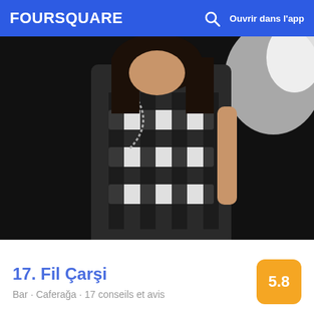FOURSQUARE  Ouvrir dans l'app
[Figure (photo): Dark nightclub photo of a person wearing a black and white striped dress with beaded necklace]
17. Fil Çarşi
Bar · Caferağa · 17 conseils et avis
[Figure (photo): Food photo showing a white ceramic dish with cream/whipped topping and a dark spoon, alongside another white dish]